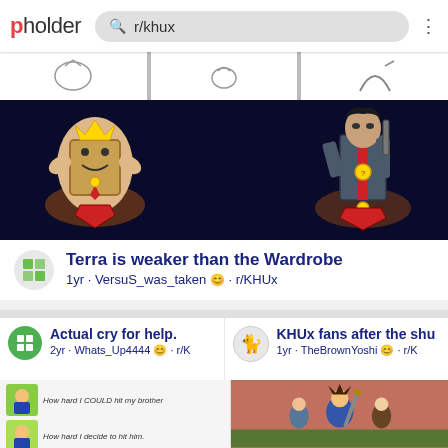pholder  r/khux
[Figure (screenshot): Kingdom Hearts Union X game characters on dark background - Lumpy/wardrobe character and Terra character as medal artwork]
[Figure (screenshot): Sketch/line art images at top of post]
Terra is weaker than the Wardrobe
1yr · VersuS_was_taken · r/KHUx
Actual cry for help.
2yr · Whats_Up4444 · r/K
KHUx fans after the shu
1yr · TheBrownYoshi · r/K
[Figure (screenshot): Meme with Sora characters: How hard I COULD hit my brother / How hard I decide to hit him.]
[Figure (screenshot): Kingdom Hearts scene with Sora in combat]